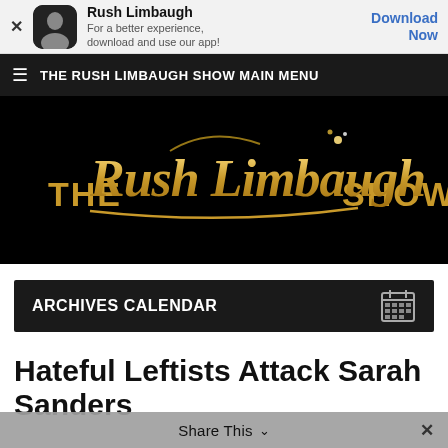[Figure (screenshot): App download banner with Rush Limbaugh app icon, name, tagline, and Download Now button]
THE RUSH LIMBAUGH SHOW MAIN MENU
[Figure (logo): The Rush Limbaugh Show logo in gold script on black background]
ARCHIVES CALENDAR
Hateful Leftists Attack Sarah Sanders